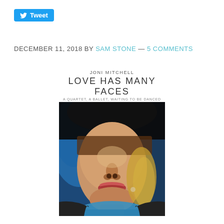[Figure (other): Twitter Tweet button with bird icon]
DECEMBER 11, 2018 BY SAM STONE — 5 COMMENTS
[Figure (photo): Joni Mitchell - Love Has Many Faces album cover showing a painted close-up portrait of a woman's face with blue and dark background, wearing sunglasses pushed up on forehead]